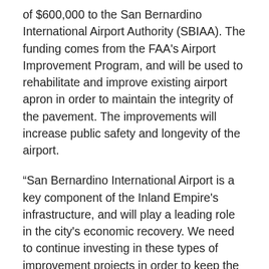of $600,000 to the San Bernardino International Airport Authority (SBIAA). The funding comes from the FAA's Airport Improvement Program, and will be used to rehabilitate and improve existing airport apron in order to maintain the integrity of the pavement. The improvements will increase public safety and longevity of the airport.
“San Bernardino International Airport is a key component of the Inland Empire's infrastructure, and will play a leading role in the city's economic recovery. We need to continue investing in these types of improvement projects in order to keep the airport safe and operational. I'm proud to announce this funding, which will help support good jobs in our community and modernize our system of airports,” said Rep. Aguilar.
“We appreciate Congressman Aguilar’s steady support for continued funding for the Federal